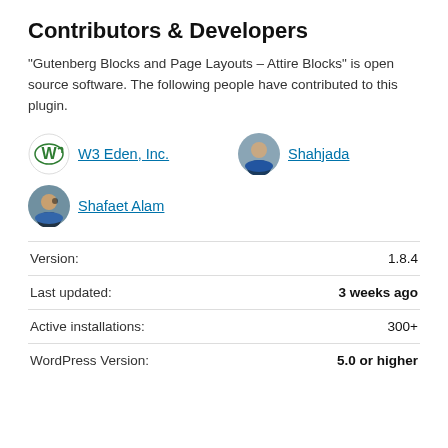Contributors & Developers
“Gutenberg Blocks and Page Layouts – Attire Blocks” is open source software. The following people have contributed to this plugin.
W3 Eden, Inc.
Shahjada
Shafaet Alam
|  |  |
| --- | --- |
| Version: | 1.8.4 |
| Last updated: | 3 weeks ago |
| Active installations: | 300+ |
| WordPress Version: | 5.0 or higher |